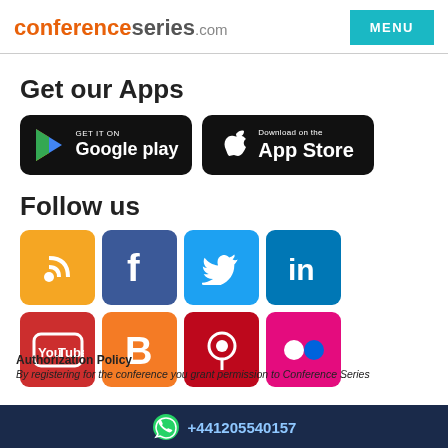conferenceseries.com  MENU
Get our Apps
[Figure (logo): Google Play and App Store download badges on black rounded rectangles]
Follow us
[Figure (infographic): Social media icons: RSS (orange), Facebook (dark blue), Twitter (light blue), LinkedIn (blue), YouTube (red), Blogger (orange), Pinterest (red), Flickr (pink)]
Authorization Policy
By registering for the conference you grant permission to Conference Series
+441205540157